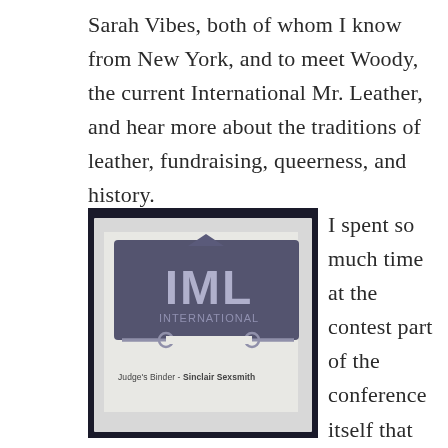Sarah Vibes, both of whom I know from New York, and to meet Woody, the current International Mr. Leather, and hear more about the traditions of leather, fundraising, queerness, and history.
[Figure (photo): A photo of a judge's binder with the IML (International Mr. Leather) logo on a white cover. The text reads 'Judge's Binder - Sinclair Sexsmith' in italic script at the bottom.]
I spent so much time at the contest part of the conference itself that weekend in